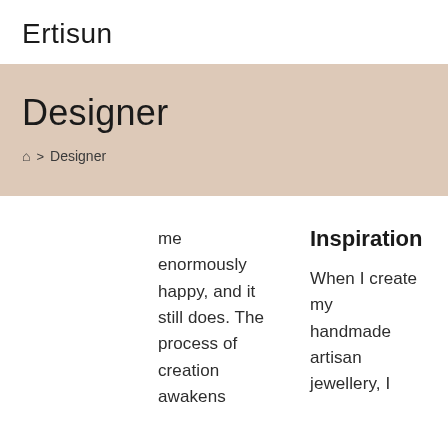Ertisun
Designer
⌂ > Designer
me enormously happy, and it still does. The process of creation awakens
Inspiration
When I create my handmade artisan jewellery, I